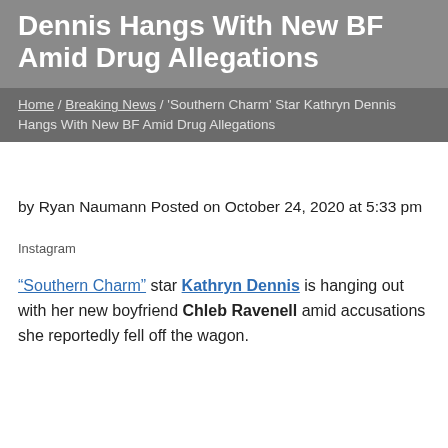Dennis Hangs With New BF Amid Drug Allegations
Home / Breaking News / 'Southern Charm' Star Kathryn Dennis Hangs With New BF Amid Drug Allegations
by Ryan Naumann Posted on October 24, 2020 at 5:33 pm
Instagram
“Southern Charm” star Kathryn Dennis is hanging out with her new boyfriend Chleb Ravenell amid accusations she reportedly fell off the wagon.